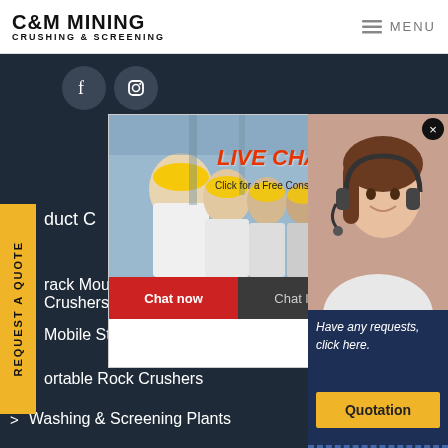C&M MINING CRUSHING & SCREENING | MENU
[Figure (screenshot): Website screenshot showing C&M Mining Crushing & Screening navigation, social media icons (Facebook, Instagram), a live chat popup with workers in hard hats, chat now/chat later buttons, menu items including Track Mounted Mobile Crushers, Mobile Stone Crushers, Portable Rock Crushers, Washing & Screening Plants, Fixed Rock Crushers, and a customer service popup with quotation button. A yellow REQUEST A QUOTE sidebar is visible on the left.]